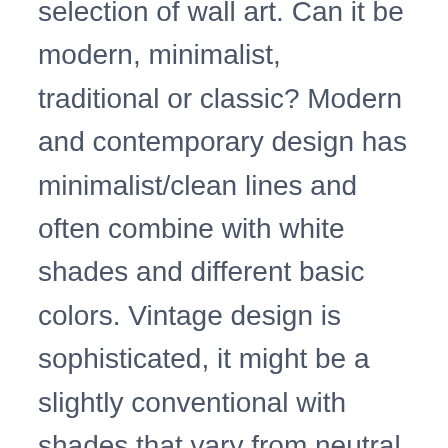selection of wall art. Can it be modern, minimalist, traditional or classic? Modern and contemporary design has minimalist/clean lines and often combine with white shades and different basic colors. Vintage design is sophisticated, it might be a slightly conventional with shades that vary from neutral to variety shades of yellow and other colors. When it comes to the decorations and models of half circle metal wall art also needs to effective and practical. Also, get with your own layout and that which you choose being an personalized. Most of the pieces of wall art should match each other and also be consistent with your overall room. If you have an interior design